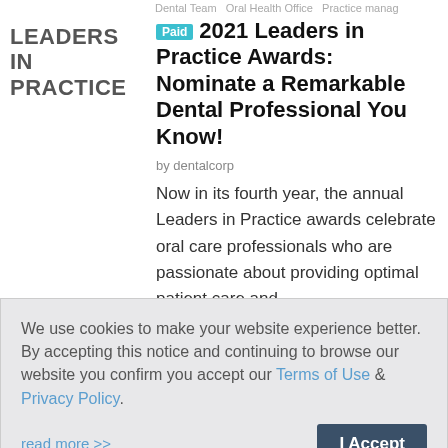Dental Team  Oral Health Office  Practice manag
[Figure (logo): LEADERS IN PRACTICE logo text in grey uppercase bold]
2021 Leaders in Practice Awards: Nominate a Remarkable Dental Professional You Know!
by dentalcorp
Now in its fourth year, the annual Leaders in Practice awards celebrate oral care professionals who are passionate about providing optimal patient care and
We use cookies to make your website experience better. By accepting this notice and continuing to browse our website you confirm you accept our Terms of Use & Privacy Policy.
read more >>
I Accept
October 1, 2021